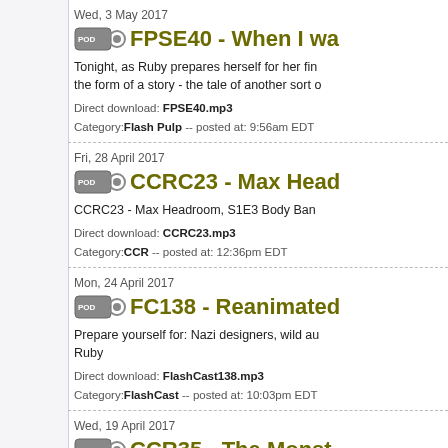Wed, 3 May 2017
FPSE40 - When I wa...
Tonight, as Ruby prepares herself for her fi... the form of a story - the tale of another sort o...
Direct download: FPSE40.mp3
Category:Flash Pulp -- posted at: 9:56am EDT
Fri, 28 April 2017
CCRC23 - Max Head...
CCRC23 - Max Headroom, S1E3 Body Ban...
Direct download: CCRC23.mp3
Category:CCR -- posted at: 12:36pm EDT
Mon, 24 April 2017
FC138 - Reanimated...
Prepare yourself for: Nazi designers, wild au... Ruby
Direct download: FlashCast138.mp3
Category:FlashCast -- posted at: 10:03pm EDT
Wed, 19 April 2017
CCR35 - The Monst...
The chronauts sat through this 1932 mess...
Direct download: CCR35.mp3
Category:CCR -- posted at: 10:11pm EDT